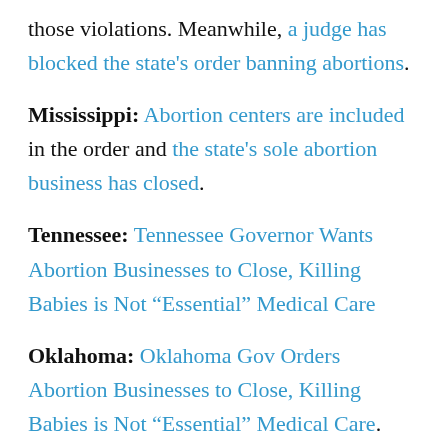those violations. Meanwhile, a judge has blocked the state's order banning abortions.
Mississippi: Abortion centers are included in the order and the state's sole abortion business has closed.
Tennessee: Tennessee Governor Wants Abortion Businesses to Close, Killing Babies is Not “Essential” Medical Care
Oklahoma: Oklahoma Gov Orders Abortion Businesses to Close, Killing Babies is Not “Essential” Medical Care. The Planned Parenthood abortion business has sued to